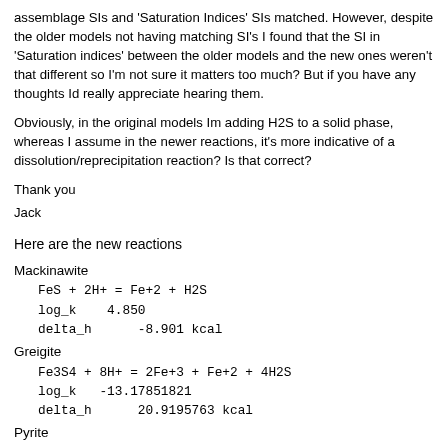assemblage SIs and 'Saturation Indices' SIs matched. However, despite the older models not having matching SI's I found that the SI in 'Saturation indices' between the older models and the new ones weren't that different so I'm not sure it matters too much? But if you have any thoughts Id really appreciate hearing them.
Obviously, in the original models Im adding H2S to a solid phase, whereas I assume in the newer reactions, it's more indicative of a dissolution/reprecipitation reaction? Is that correct?
Thank you
Jack
Here are the new reactions
Mackinawite
Greigite
Pyrite